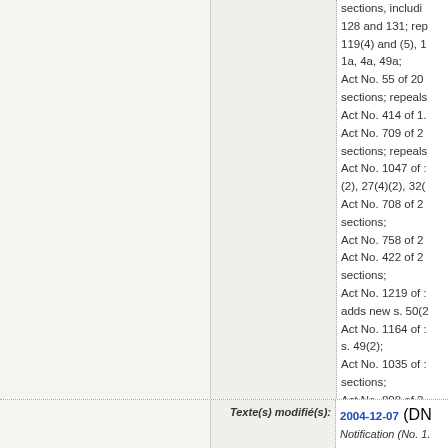sections, including 128 and 131; rep 119(4) and (5), 1 1a, 4a, 49a; Act No. 55 of 20 sections; repeals Act No. 414 of 1. Act No. 709 of 2 sections; repeals Act No. 1047 of (2), 27(4)(2), 32( Act No. 708 of 2 sections; Act No. 758 of 2 Act No. 422 of 2 sections; Act No. 1219 of adds new s. 50(2 Act No. 1164 of s. 49(2); Act No. 1035 of sections; Act No. 808 of 2 9a(11) and 16.
Texte(s) modifié(s):
2004-12-07 (DN Notification (No. 1.